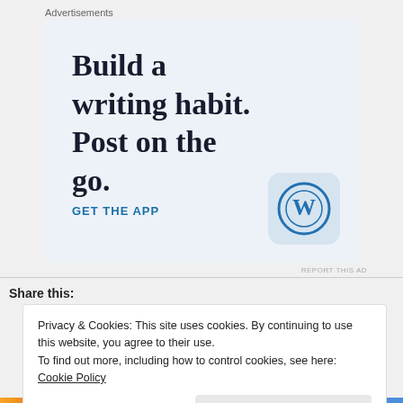Advertisements
[Figure (illustration): WordPress advertisement banner with light blue background. Large serif bold text reads 'Build a writing habit. Post on the go.' with 'GET THE APP' link in blue and WordPress logo icon at bottom right.]
REPORT THIS AD
Share this:
Privacy & Cookies: This site uses cookies. By continuing to use this website, you agree to their use.
To find out more, including how to control cookies, see here: Cookie Policy
Close and accept